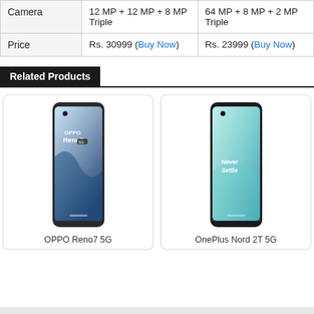|  | Col1 | Col2 |
| --- | --- | --- |
| Camera | 12 MP + 12 MP + 8 MP Triple | 64 MP + 8 MP + 2 MP Triple |
| Price | Rs. 30999 (Buy Now) | Rs. 23999 (Buy Now) |
Related Products
[Figure (photo): OPPO Reno7 5G smartphone product image]
OPPO Reno7 5G
[Figure (photo): OnePlus Nord 2T 5G smartphone product image with 'Never Settle' text on screen]
OnePlus Nord 2T 5G